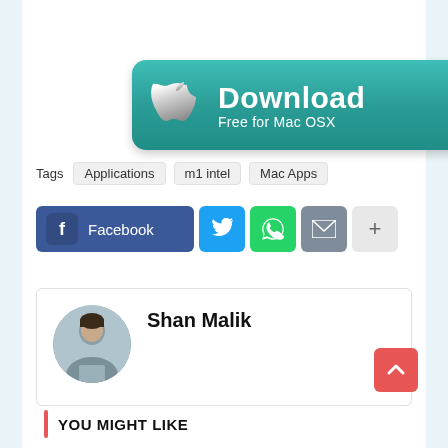[Figure (illustration): Download Free for Mac OSX button with Apple logo, teal gradient background]
Tags   Applications   m1 intel   Mac Apps
[Figure (infographic): Social sharing buttons: Facebook, Twitter, WhatsApp, Email, More (+)]
[Figure (photo): Author profile box with circular avatar photo of Shan Malik and name 'Shan Malik']
[Figure (illustration): Scroll-to-top red button with up arrow chevron]
YOU MIGHT LIKE